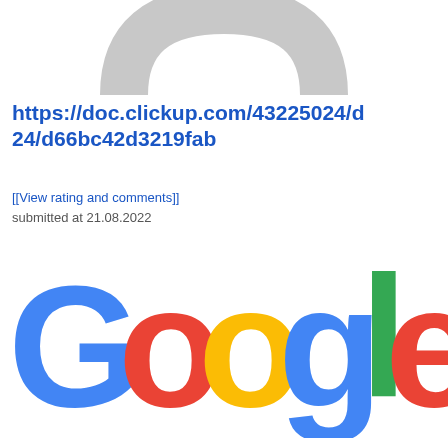[Figure (logo): Partial arch/bridge logo in light gray, cropped at top of page]
https://doc.clickup.com/43225024/d24/d66bc42d3219fab
[[View rating and comments]]
submitted at 21.08.2022
[Figure (logo): Google logo in full color: blue G, red o, yellow o, blue g, green l, red e]